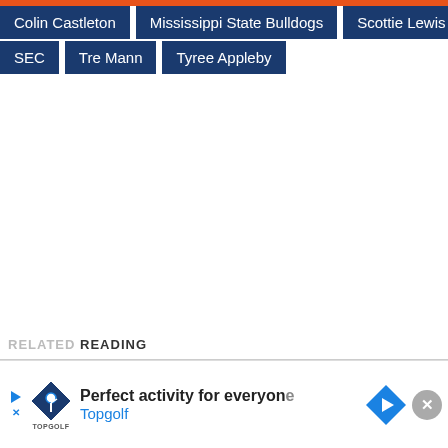Colin Castleton
Mississippi State Bulldogs
Scottie Lewis
SEC
Tre Mann
Tyree Appleby
RELATED READING
[Figure (other): Advertisement banner for Topgolf: 'Perfect activity for everyone' with Topgolf logo, navigation arrow icon, and close button]